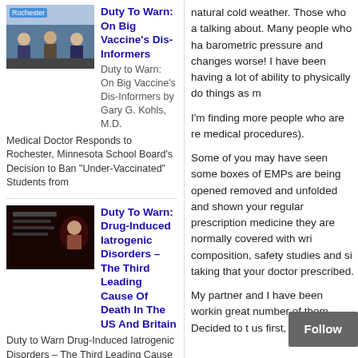[Figure (photo): Thumbnail image for article about Duty To Warn: On Big Vaccine's Dis-Informers, showing Rochester conference with people seated at a panel]
Duty To Warn: On Big Vaccine's Dis-Informers
Duty to Warn: On Big Vaccine's Dis-Informers by Gary G. Kohls, M.D. Medical Doctor Responds to Rochester, Minnesota School Board's Decision to Ban "Under-Vaccinated" Students from
[Figure (photo): Thumbnail image for article about Duty To Warn: Drug-Induced Iatrogenic Disorders, dark background with text]
Duty To Warn: Drug-Induced Iatrogenic Disorders – The Third Leading Cause Of Death In The US And Britain
Duty to Warn Drug-Induced Iatrogenic Disorders – The Third Leading Cause of Death in the US and Britain By Gary G. Kohls, MD Definition of an
[Figure (photo): Thumbnail image for article about Duty To Warn: Mercury, Aluminum And Vaccine-Induced Encephalopathy, showing biohazard warning sign]
Duty To Warn: Mercury, Aluminum And Vaccine-Induced Encephalopathy
Duty To Warn Mercury, Aluminum and Vaccine-induced Encephalopathy (Including Autism Spectrum Disorder, ADHD, Learning Disorders, Epilepsy, Autoimmune Disorders, Chronic Fatigue Disorder, and many other chronic
natural cold weather. Those who a talking about. Many people who ha barometric pressure and changes worse! I have been having a lot of ability to physically do things as m
I'm finding more people who are re medical procedures).
Some of you may have seen some boxes of EMPs are being opened removed and unfolded and shown your regular prescription medicine they are normally covered with wri composition, safety studies and si taking that your doctor prescribed.
My partner and I have been workin great number of them Decided to t us first, which is hea